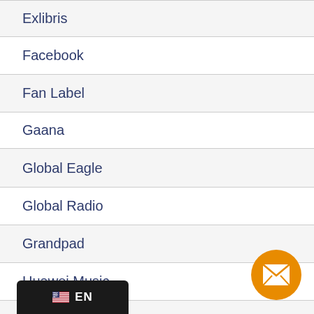Exlibris
Facebook
Fan Label
Gaana
Global Eagle
Global Radio
Grandpad
Huawei Music
H…